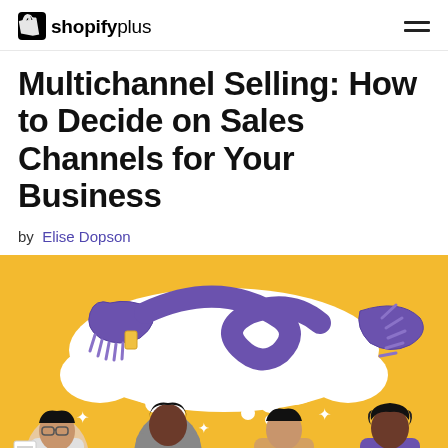shopifyplus
Multichannel Selling: How to Decide on Sales Channels for Your Business
by Elise Dopson
[Figure (illustration): Illustration on a yellow/golden background showing four cartoon people with thought bubbles above them. Inside the thought bubble is a purple scarf/ribbon shape. The people are smiling and include a person with glasses holding a newspaper, a person in a grey shirt holding a phone, a person with a laptop, and a person in purple.]